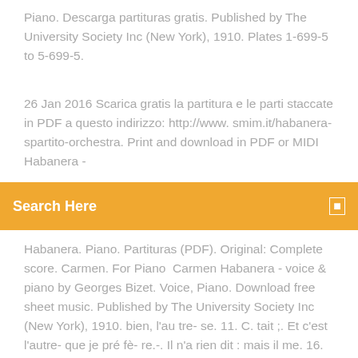Piano. Descarga partituras gratis. Published by The University Society Inc (New York), 1910. Plates 1-699-5 to 5-699-5.
26 Jan 2016 Scarica gratis la partitura e le parti staccate in PDF a questo indirizzo: http://www.smim.it/habanera-spartito-orchestra. Print and download in PDF or MIDI Habanera -
Search Here
Habanera. Piano. Partituras (PDF). Original: Complete score. Carmen. For Piano  Carmen Habanera - voice & piano by Georges Bizet. Voice, Piano. Download free sheet music. Published by The University Society Inc (New York), 1910. bien, l'au tre- se. 11. C. tait ;. Et c'est l'autre- que je pré fè- re.-. Il n'a rien dit : mais il me. 16. 24. 24. 24. &b. ∑ . ∑ . ∑ . 3. Georges Bizet. Carmen. Habanera. Carmen Habanera - voice & piano por Georges Bizet. Descarga partituras gratis. Carmen. Habanera - voice & piano. Miniatura de la partitura · Descargar